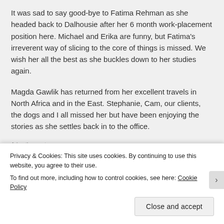It was sad to say good-bye to Fatima Rehman as she headed back to Dalhousie after her 6 month work-placement position here. Michael and Erika are funny, but Fatima's irreverent way of slicing to the core of things is missed. We wish her all the best as she buckles down to her studies again.
Magda Gawlik has returned from her excellent travels in North Africa and in the East. Stephanie, Cam, our clients, the dogs and I all missed her but have been enjoying the stories as she settles back in to the office.
Advertisements
[Figure (other): Advertisement banner with blue-purple gradient background showing text 'Simplified pricing for']
Privacy & Cookies: This site uses cookies. By continuing to use this website, you agree to their use.
To find out more, including how to control cookies, see here: Cookie Policy
Close and accept